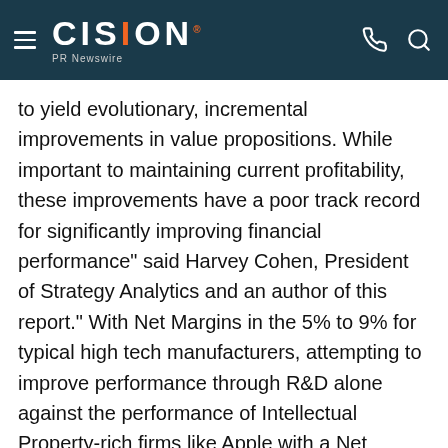CISION PR Newswire
to yield evolutionary, incremental improvements in value propositions. While important to maintaining current profitability, these improvements have a poor track record for significantly improving financial performance" said Harvey Cohen, President of Strategy Analytics and an author of this report." With Net Margins in the 5% to 9% for typical high tech manufacturers, attempting to improve performance through R&D alone against the performance of Intellectual Property-rich firms like Apple with a Net Margin of 23%, without examining the risk-taking culture of these firms leads to erroneous conclusions and misaligned strategies".